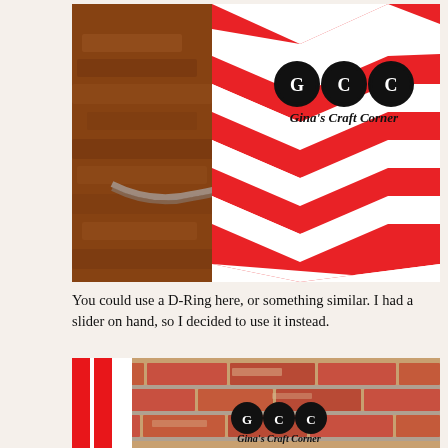[Figure (photo): Close-up photo of a red and white chevron fabric with a metal slider/D-ring hardware against a terracotta/brick background. Gina's Craft Corner logo (GCC in circles) visible in upper right.]
You could use a D-Ring here, or something similar.  I had a slider on hand, so I decided to use it instead.
[Figure (photo): Close-up photo of red and white striped fabric against a weathered red brick wall background. Gina's Craft Corner logo (GCC in circles) visible in lower center.]